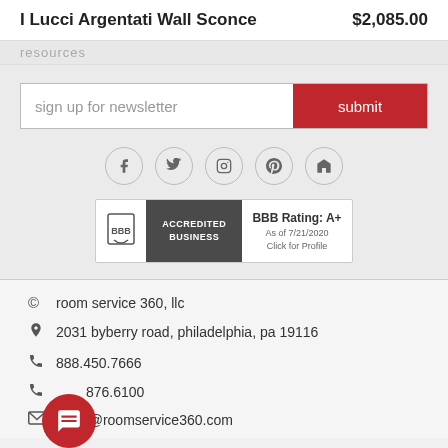I Lucci Argentati Wall Sconce   $2,085.00
sign up for newsletter
[Figure (infographic): Social media icons in circles: Facebook, Twitter, Instagram, Pinterest, Houzz]
[Figure (logo): BBB Accredited Business badge with rating A+, As of 7/21/2020, Click for Profile]
© room service 360, llc
2031 byberry road, philadelphia, pa 19116
888.450.7666
876.6100
sales@roomservice360.com